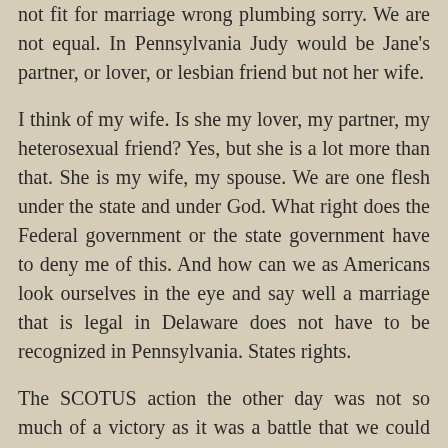not fit for marriage wrong plumbing sorry. We are not equal. In Pennsylvania Judy would be Jane's partner, or lover, or lesbian friend but not her wife.
I think of my wife. Is she my lover, my partner, my heterosexual friend? Yes, but she is a lot more than that. She is my wife, my spouse. We are one flesh under the state and under God. What right does the Federal government or the state government have to deny me of this. And how can we as Americans look ourselves in the eye and say well a marriage that is legal in Delaware does not have to be recognized in Pennsylvania. States rights.
The SCOTUS action the other day was not so much of a victory as it was a battle that we could not afford to lose. Yes we, Americans gay and hetero. It was a step in the right direction, but I am hesitant to call it a victory.
But we are not equal, not yet. I am better than you, I am more fit for marriage than you. If I move to another state, no one will say my marriage is invalid. Can you say that? I am better than you. Not because I believe that, but because the state says it is so. And that is a national